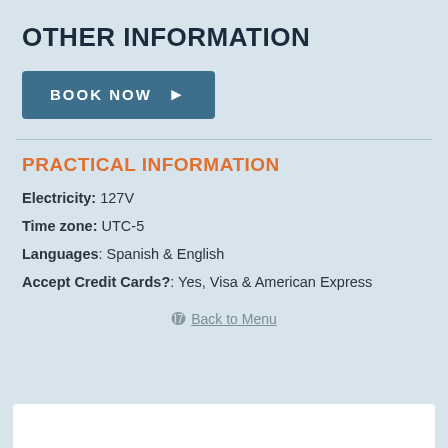OTHER INFORMATION
[Figure (other): A blue button labeled BOOK NOW with a right-pointing arrow]
PRACTICAL INFORMATION
Electricity: 127V
Time zone: UTC-5
Languages: Spanish & English
Accept Credit Cards?: Yes, Visa & American Express
⬆ Back to Menu